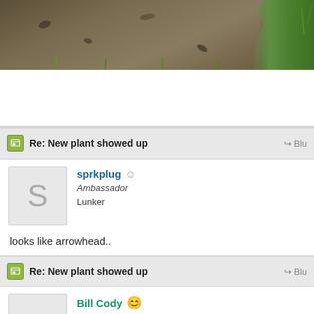[Figure (photo): A photo of dirt/soil with some small green plant sprouts and grass on the right side]
Re: New plant showed up
sprkplug
Ambassador
Lunker
looks like arrowhead..
Re: New plant showed up
Bill Cody
Moderator
Ambassador
Field Correspondent
Lunker
Sprkplug has it correct. If you don't want them where they are growing...